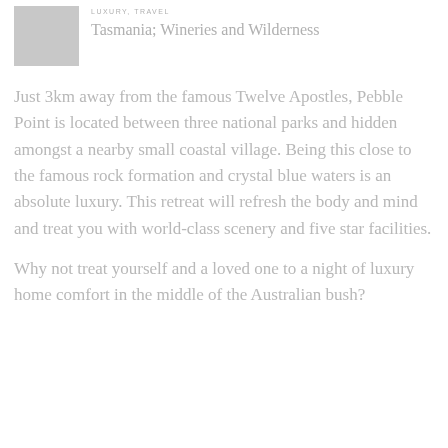[Figure (photo): Small grey thumbnail image placeholder]
LUXURY, TRAVEL
Tasmania; Wineries and Wilderness
Just 3km away from the famous Twelve Apostles, Pebble Point is located between three national parks and hidden amongst a nearby small coastal village. Being this close to the famous rock formation and crystal blue waters is an absolute luxury. This retreat will refresh the body and mind and treat you with world-class scenery and five star facilities.
Why not treat yourself and a loved one to a night of luxury home comfort in the middle of the Australian bush?